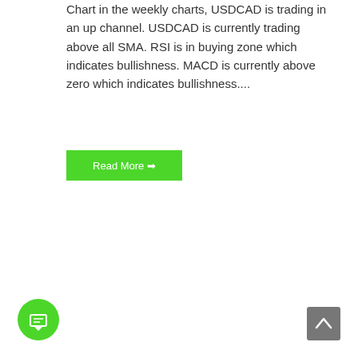Chart in the weekly charts, USDCAD is trading in an up channel. USDCAD is currently trading above all SMA. RSI is in buying zone which indicates bullishness. MACD is currently above zero which indicates bullishness....
[Figure (other): Green 'Read More' button with right arrow]
[Figure (other): Green circular chat/comment button at bottom left]
[Figure (other): Grey scroll-to-top button with upward chevron at bottom right]